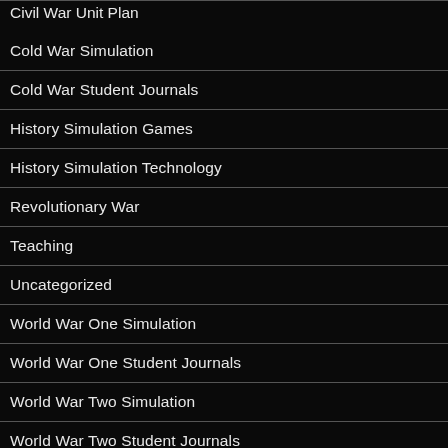Civil War Unit Plan
Cold War Simulation
Cold War Student Journals
History Simulation Games
History Simulation Technology
Revolutionary War
Teaching
Uncategorized
World War One Simulation
World War One Student Journals
World War Two Simulation
World War Two Student Journals